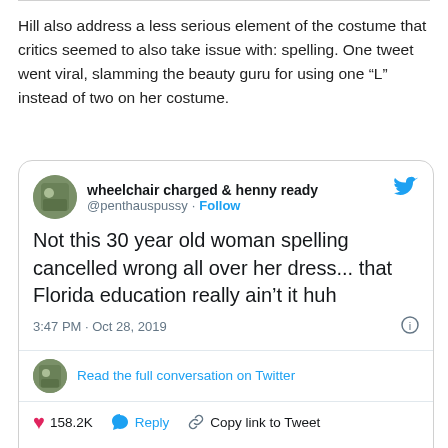Hill also address a less serious element of the costume that critics seemed to also take issue with: spelling. One tweet went viral, slamming the beauty guru for using one “L” instead of two on her costume.
[Figure (screenshot): Embedded tweet from @penthauspussy reading: Not this 30 year old woman spelling cancelled wrong all over her dress... that Florida education really ain’t it huh. Posted 3:47 PM · Oct 28, 2019. 158.2K likes. Read 797 replies.]